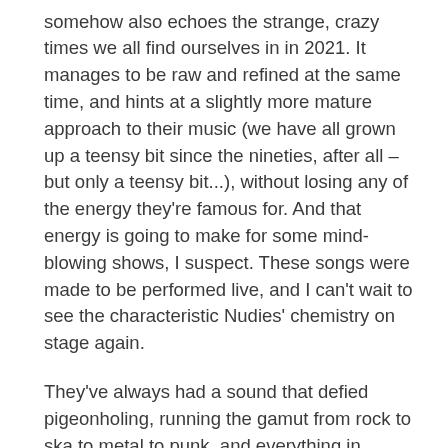somehow also echoes the strange, crazy times we all find ourselves in in 2021. It manages to be raw and refined at the same time, and hints at a slightly more mature approach to their music (we have all grown up a teensy bit since the nineties, after all – but only a teensy bit...), without losing any of the energy they're famous for. And that energy is going to make for some mind-blowing shows, I suspect. These songs were made to be performed live, and I can't wait to see the characteristic Nudies' chemistry on stage again.
They've always had a sound that defied pigeonholing, running the gamut from rock to ska to metal to punk, and everything in between, and this album is no different. There are so many great songs, that it's hard to pick a favourite – currently it's Get the Picture but that could change, and there's also a bit in Emerging